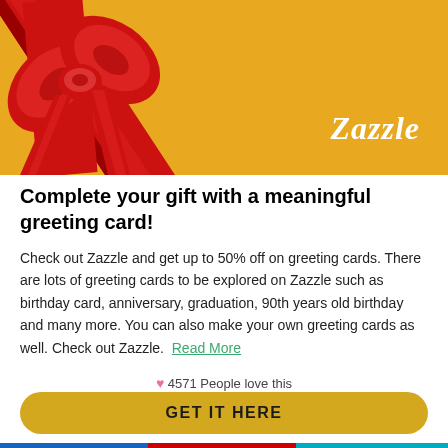[Figure (illustration): Yellow/golden banner with a red ribbon and bow in the top-left corner, and the Zazzle logo in italic white text at the bottom-right.]
Complete your gift with a meaningful greeting card!
Check out Zazzle and get up to 50% off on greeting cards. There are lots of greeting cards to be explored on Zazzle such as birthday card, anniversary, graduation, 90th years old birthday and many more. You can also make your own greeting cards as well. Check out Zazzle.  Read More
♥ 4571 People love this
GET IT HERE